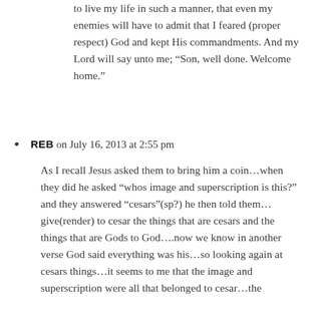to live my life in such a manner, that even my enemies will have to admit that I feared (proper respect) God and kept His commandments. And my Lord will say unto me; “Son, well done. Welcome home.”
REB on July 16, 2013 at 2:55 pm
As I recall Jesus asked them to bring him a coin…when they did he asked “whos image and superscription is this?” and they answered “cesars”(sp?) he then told them…give(render) to cesar the things that are cesars and the things that are Gods to God….now we know in another verse God said everything was his…so looking again at cesars things…it seems to me that the image and superscription were all that belonged to cesar…the